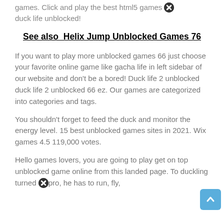games. Click and play the best html5 games duck life unblocked!
See also  Helix Jump Unblocked Games 76
If you want to play more unblocked games 66 just choose your favorite online game like gacha life in left sidebar of our website and don't be a bored! Duck life 2 unblocked duck life 2 unblocked 66 ez. Our games are categorized into categories and tags.
You shouldn't forget to feed the duck and monitor the energy level. 15 best unblocked games sites in 2021. Wix games 4.5 119,000 votes.
Hello games lovers, you are going to play get on top unblocked game online from this landed page. To duckling turned pro, he has to run, fly,